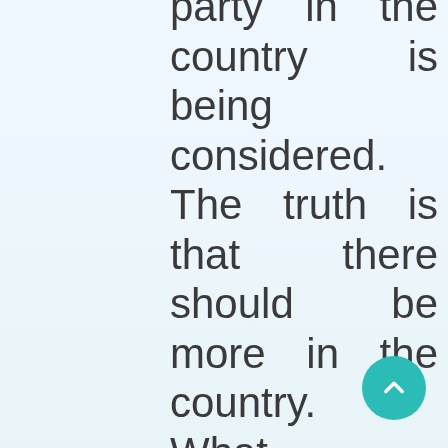there should be a third party in the country is being considered. The truth is that there should be more in the country. What has happened to the human race, then, requires that all attitudes of humanity be considered and that in its practice, where necessary, some things be rejected and some accepted, no